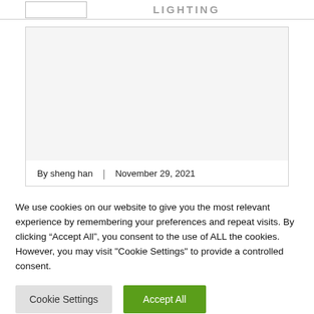LIGHTING
[Figure (photo): Article card with image area and author/date metadata]
By sheng han | November 29, 2021
We use cookies on our website to give you the most relevant experience by remembering your preferences and repeat visits. By clicking “Accept All”, you consent to the use of ALL the cookies. However, you may visit "Cookie Settings" to provide a controlled consent.
Cookie Settings    Accept All